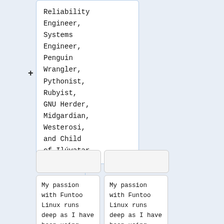Reliability Engineer, Systems Engineer, Penguin Wrangler, Pythonist, Rubyist, GNU Herder, Midgardian, Westerosi, and Child of Ilúvatar.
My passion with Funtoo Linux runs deep as I have been using
My passion with Funtoo Linux runs deep as I have been using